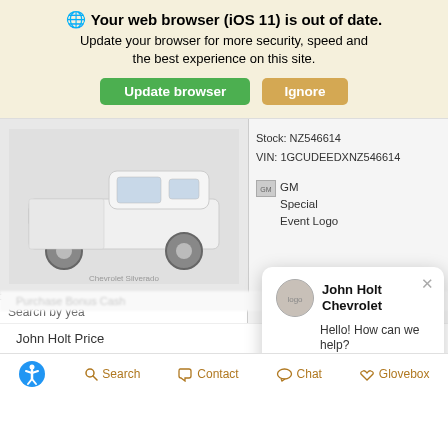🌐 Your web browser (iOS 11) is out of date. Update your browser for more security, speed and the best experience on this site. [Update browser] [Ignore]
[Figure (screenshot): Screenshot of a car dealership webpage showing a white Chevrolet Silverado pickup truck, stock number NZ546614, VIN 1GCUDEEDXNZ546614, GM Special Event Logo, partial sidebar with search and vehicle specs, a chat popup from John Holt Chevrolet saying 'Hello! How can we help?' with a Reply button, John Holt Price $61,365, and a bottom navigation bar with Search, Contact, Chat, and Glovebox icons.]
Stock: NZ546614
VIN: 1GCUDEEDXNZ546614
GM Special Event Logo
Search by yea
seating positi
Drivetrain: Four Whe
Engine: 5.3L EcoTec
John Holt Chevrolet
Hello! How can we help?
← Reply
John Holt Price   $61,365
♿ Search  📞 Contact  💬 Chat  ♡ Glovebox